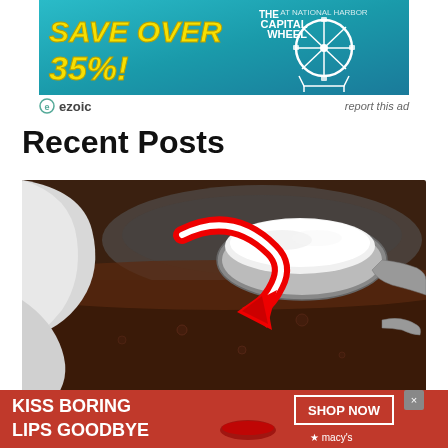[Figure (infographic): Top banner advertisement: teal/blue background. Left side shows 'SAVE OVER 35%!' in bold yellow italic text. Right side shows 'THE CAPITAL WHEEL' logo with a Ferris wheel icon in white.]
ezoic   report this ad
Recent Posts
[Figure (photo): Photo of a spoon loaded with white sugar/salt being held over a dark brown liquid (chocolate) in a bowl. A large red curved arrow points down toward the liquid. Background shows white cloth or towel.]
[Figure (infographic): Bottom banner advertisement: red background. Left side shows 'KISS BORING LIPS GOODBYE' in white bold uppercase text. Right side shows a woman's face with red lipstick, a 'SHOP NOW' button outlined in white, and the Macy's star logo in white.]